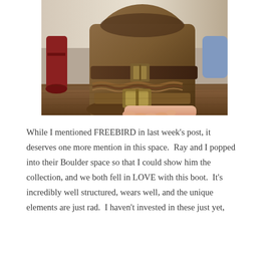[Figure (photo): Close-up photo of a brown leather boot with buckled straps and chain detail wrapped around the ankle area, held by a person's hand on a wooden surface. Another red boot is visible in the background.]
While I mentioned FREEBIRD in last week's post, it deserves one more mention in this space.  Ray and I popped into their Boulder space so that I could show him the collection, and we both fell in LOVE with this boot.  It's incredibly well structured, wears well, and the unique elements are just rad.  I haven't invested in these just yet,